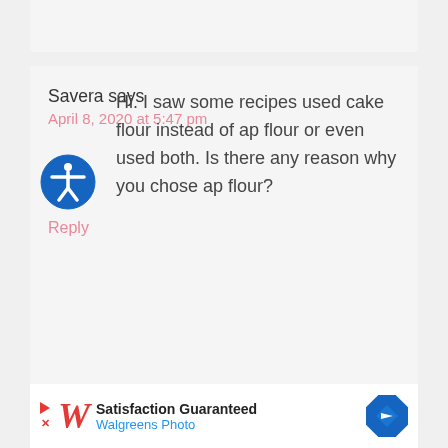Savera says
April 8, 2020 at 5:47 pm
Hi. I saw some recipes used cake flour instead of ap flour or even used both. Is there any reason why you chose ap flour?
Reply
[Figure (other): Walgreens Photo advertisement banner with logo and 'Satisfaction Guaranteed' text]